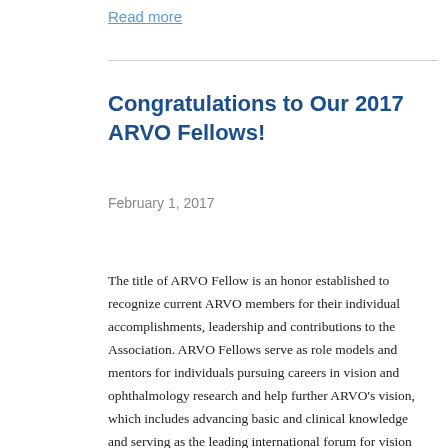Read more
Congratulations to Our 2017 ARVO Fellows!
February 1, 2017
The title of ARVO Fellow is an honor established to recognize current ARVO members for their individual accomplishments, leadership and contributions to the Association. ARVO Fellows serve as role models and mentors for individuals pursuing careers in vision and ophthalmology research and help further ARVO's vision, which includes advancing basic and clinical knowledge and serving as the leading international forum for vision research and the primary advocate for vision science worldwide. In 2017, two HMS